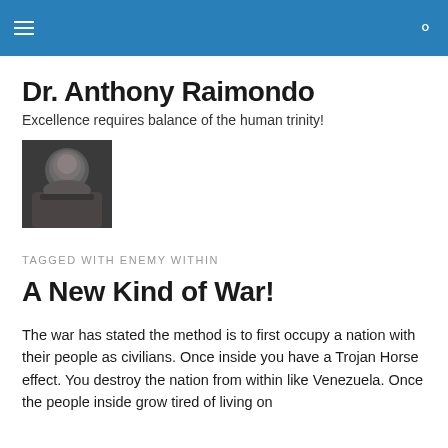≡ 🔍
Dr. Anthony Raimondo
Excellence requires balance of the human trinity!
[Figure (photo): Black and white photo of Dr. Anthony Raimondo, a middle-aged man with a beard, wearing dark clothing, looking slightly to the side.]
TAGGED WITH ENEMY WITHIN
A New Kind of War!
The war has stated the method is to first occupy a nation with their people as civilians. Once inside you have a Trojan Horse effect. You destroy the nation from within like Venezuela. Once the people inside grow tired of living on